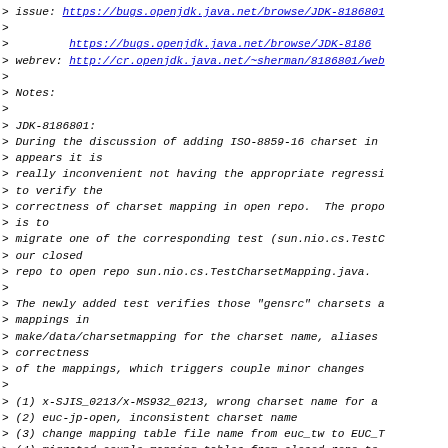> issue: https://bugs.openjdk.java.net/browse/JDK-8186801
>
>          https://bugs.openjdk.java.net/browse/JDK-8186
> webrev: http://cr.openjdk.java.net/~sherman/8186801/web
>
> Notes:
>
> JDK-8186801:
> During the discussion of adding ISO-8859-16 charset in
> appears it is
> really inconvenient not having the appropriate regress
> to verify the
> correctness of charset mapping in open repo.  The prop
> is to
> migrate one of the corresponding test (sun.nio.cs.TestC
> our closed
> repo to open repo sun.nio.cs.TestCharsetMapping.java.
>
> The newly added test verifies those "gensrc" charsets a
> mappings in
> make/data/charsetmapping for the charset name, aliases
> correctness
> of the mappings, which triggers couple minor changes
>
> (1) x-SJIS_0213/x-MS932_0213, wrong charset name for a
> (2) euc-jp-open, inconsistent charset name
> (3) change mapping table file name from euc_tw to EUC_T
> (4) migrated couple mapping tables from closed repo to
>     those "template" based gensrc charsets (we don't h
>     in repo now)
>
> (5) end inconsistent handling of  linefeed for charset